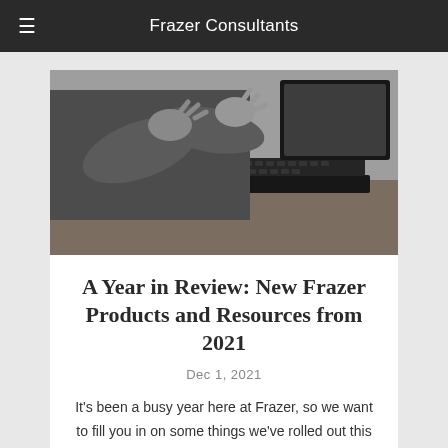Frazer Consultants
[Figure (photo): Black and white photo of a person gesturing with hands near a laptop on a desk]
A Year in Review: New Frazer Products and Resources from 2021
Dec 1, 2021
It's been a busy year here at Frazer, so we want to fill you in on some things we've rolled out this year you might not be aware of yet....